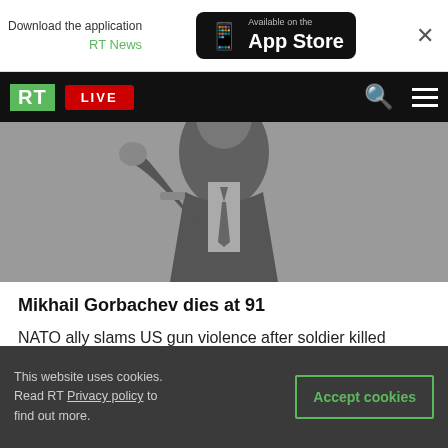Download the application RT News — Available on the App Store
[Figure (screenshot): RT news website mobile navigation bar with RT logo, LIVE button, search and menu icons]
[Figure (photo): Black and white photo of a person in a suit, appears to be Mikhail Gorbachev]
Mikhail Gorbachev dies at 91
NATO ally slams US gun violence after soldier killed
Russia releases new estimate of Ukrainian counter-offensive losses
This website uses cookies. Read RT Privacy policy to find out more. Accept cookies